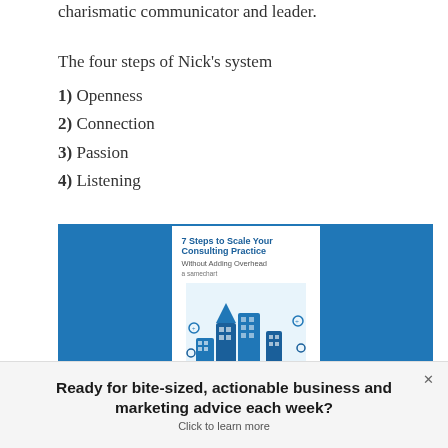charismatic communicator and leader.
The four steps of Nick's system
1) Openness
2) Connection
3) Passion
4) Listening
[Figure (illustration): Book cover for '7 Steps to Scale Your Consulting Practice Without Adding Overhead' displayed on a blue background. The cover shows a teal cityscape illustration with buildings and icons.]
Ready for bite-sized, actionable business and marketing advice each week? Click to learn more